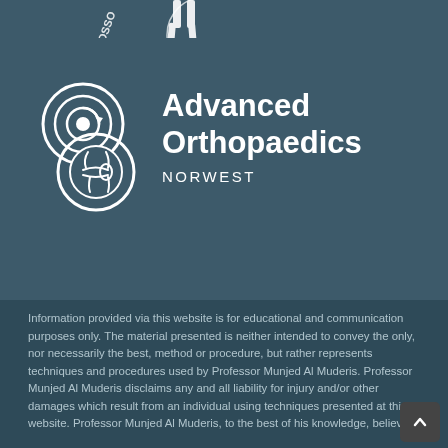[Figure (logo): Partial logo visible at top of page showing two leg silhouettes with circular text reading OSSO and AUSTRALIA]
[Figure (logo): Advanced Orthopaedics Norwest logo with two circular icons showing knee joint diagrams]
Advanced Orthopaedics
NORWEST
Information provided via this website is for educational and communication purposes only. The material presented is neither intended to convey the only, nor necessarily the best, method or procedure, but rather represents techniques and procedures used by Professor Munjed Al Muderis. Professor Munjed Al Muderis disclaims any and all liability for injury and/or other damages which result from an individual using techniques presented at this website. Professor Munjed Al Muderis, to the best of his knowledge, believes